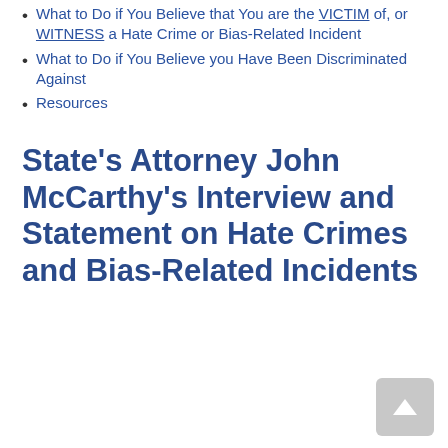What to Do if You Believe that You are the VICTIM of, or WITNESS a Hate Crime or Bias-Related Incident
What to Do if You Believe you Have Been Discriminated Against
Resources
State's Attorney John McCarthy's Interview and Statement on Hate Crimes and Bias-Related Incidents